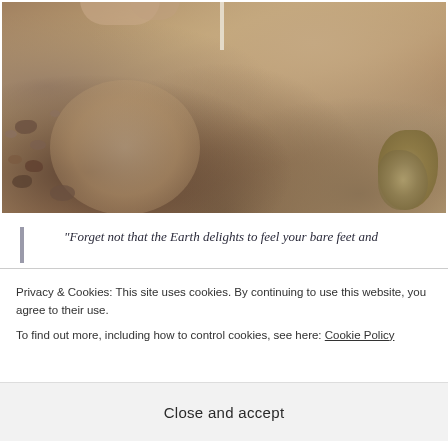[Figure (photo): Photograph of bare feet and legs on a dry rocky dirt trail with sparse desert vegetation on the right side. A white post or marker is visible. The ground is sandy/rocky with reddish-brown earth tones.]
“Forget not that the Earth delights to feel your bare feet and
Privacy & Cookies: This site uses cookies. By continuing to use this website, you agree to their use.
To find out more, including how to control cookies, see here: Cookie Policy
Close and accept